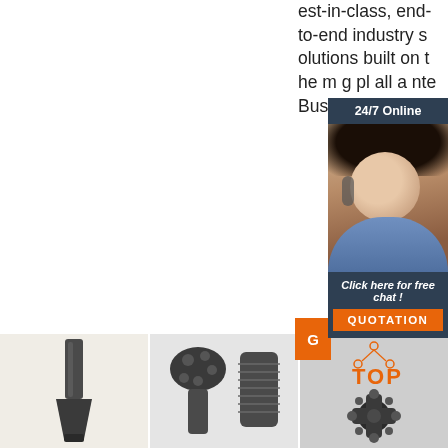est-in-class, end-to-end industry solutions built on the most leading platforms for all applications, international Business
[Figure (screenshot): 24/7 Online chat widget with female customer service agent wearing headset, dark blue background, orange QUOTATION button]
[Figure (photo): Metal chisel/scaling chisel tool, dark grey metal, flat wide blade]
[Figure (photo): Two drill bit components - button bit and drill coupling, dark metal on white background]
[Figure (photo): Cross-shaped drill bit / button bit, dark metal, with orange TOP logo watermark]